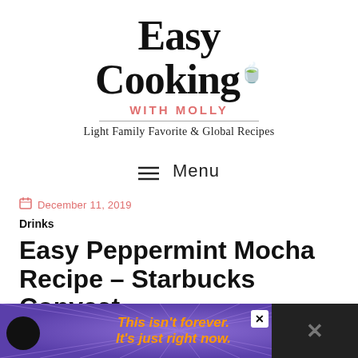[Figure (logo): Easy Cooking with Molly logo — large serif bold 'Easy Cooking' text with a pot icon, coral/salmon 'WITH MOLLY' subtitle, horizontal rule, and tagline 'Light Family Favorite & Global Recipes']
≡ Menu
December 11, 2019
Drinks
Easy Peppermint Mocha Recipe – Starbucks Copycat
[Figure (screenshot): Purple advertisement banner at bottom reading 'This isn't forever. It's just right now.' in orange italic bold text, with starburst rays background, a white X close button, and a dark right panel with X mark]